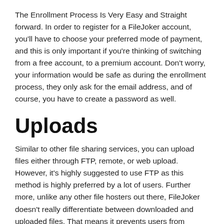The Enrollment Process Is Very Easy and Straight forward. In order to register for a FileJoker account, you'll have to choose your preferred mode of payment, and this is only important if you're thinking of switching from a free account, to a premium account. Don't worry, your information would be safe as during the enrollment process, they only ask for the email address, and of course, you have to create a password as well.
Uploads
Similar to other file sharing services, you can upload files either through FTP, remote, or web upload. However, it's highly suggested to use FTP as this method is highly preferred by a lot of users. Further more, unlike any other file hosters out there, FileJoker doesn't really differentiate between downloaded and uploaded files. That means it prevents users from uploading a file that